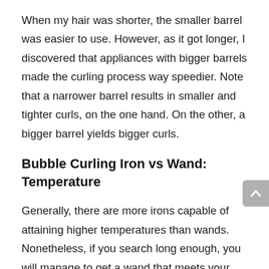When my hair was shorter, the smaller barrel was easier to use. However, as it got longer, I discovered that appliances with bigger barrels made the curling process way speedier. Note that a narrower barrel results in smaller and tighter curls, on the one hand. On the other, a bigger barrel yields bigger curls.
Bubble Curling Iron vs Wand: Temperature
Generally, there are more irons capable of attaining higher temperatures than wands. Nonetheless, if you search long enough, you will manage to get a wand that meets your heat requirements.